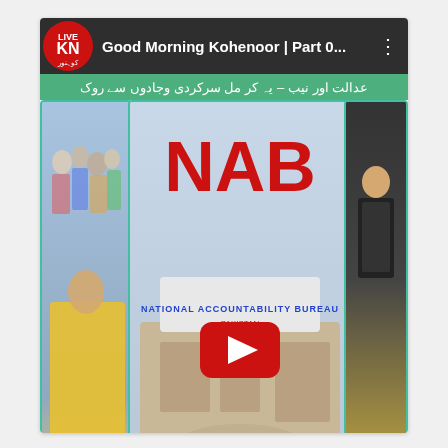[Figure (screenshot): YouTube video thumbnail/player screenshot for 'Good Morning Kohenoor | Part 0...' showing a Kohenoor News (KN) live stream. The main panel shows the NAB (National Accountability Bureau) building with large red NAB lettering and blue 'NATIONAL ACCOUNTABILITY BUREAU' subtitle, a red YouTube play button overlay in the center. Left panel shows protest crowd imagery, right panel shows a TV presenter. Bottom has green Urdu ticker text, yellow background strip, blue name label bars, and a dark social media bar showing '/kohenoor news' and '/knnewspk1'. A scroll-to-top button is visible at the bottom left.]